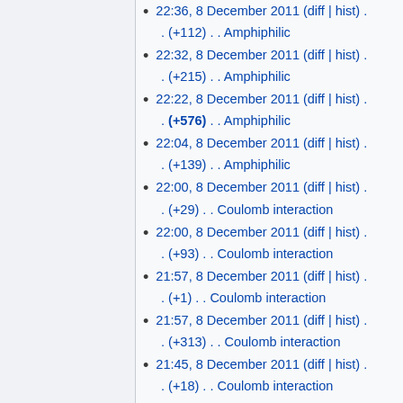22:36, 8 December 2011 (diff | hist) . . (+112) . . Amphiphilic
22:32, 8 December 2011 (diff | hist) . . (+215) . . Amphiphilic
22:22, 8 December 2011 (diff | hist) . . (+576) . . Amphiphilic
22:04, 8 December 2011 (diff | hist) . . (+139) . . Amphiphilic
22:00, 8 December 2011 (diff | hist) . . (+29) . . Coulomb interaction
22:00, 8 December 2011 (diff | hist) . . (+93) . . Coulomb interaction
21:57, 8 December 2011 (diff | hist) . . (+1) . . Coulomb interaction
21:57, 8 December 2011 (diff | hist) . . (+313) . . Coulomb interaction
21:45, 8 December 2011 (diff | hist) . . (+18) . . Coulomb interaction
21:44, 8 December 2011 (diff | hist) . . (+253) . . Coulomb interaction
21:41, 8 December 2011 (diff | hist) .